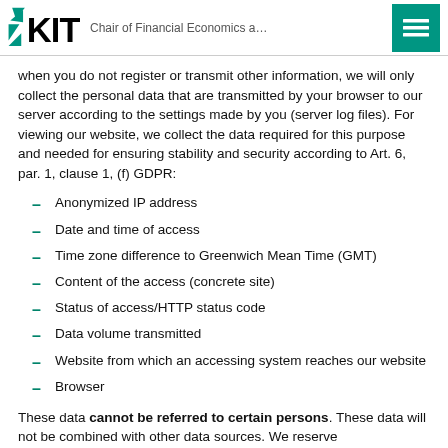KIT — Chair of Financial Economics a…
when you do not register or transmit other information, we will only collect the personal data that are transmitted by your browser to our server according to the settings made by you (server log files). For viewing our website, we collect the data required for this purpose and needed for ensuring stability and security according to Art. 6, par. 1, clause 1, (f) GDPR:
Anonymized IP address
Date and time of access
Time zone difference to Greenwich Mean Time (GMT)
Content of the access (concrete site)
Status of access/HTTP status code
Data volume transmitted
Website from which an accessing system reaches our website
Browser
These data cannot be referred to certain persons. These data will not be combined with other data sources. We reserve